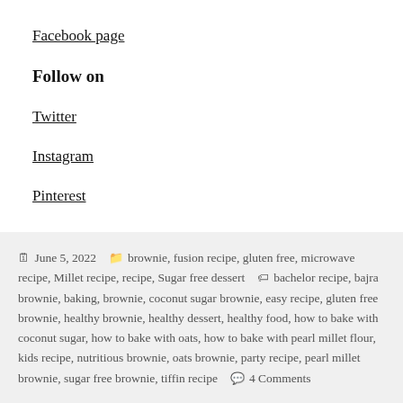Facebook page
Follow on
Twitter
Instagram
Pinterest
June 5, 2022  brownie, fusion recipe, gluten free, microwave recipe, Millet recipe, recipe, Sugar free dessert  bachelor recipe, bajra brownie, baking, brownie, coconut sugar brownie, easy recipe, gluten free brownie, healthy brownie, healthy dessert, healthy food, how to bake with coconut sugar, how to bake with oats, how to bake with pearl millet flour, kids recipe, nutritious brownie, oats brownie, party recipe, pearl millet brownie, sugar free brownie, tiffin recipe  4 Comments